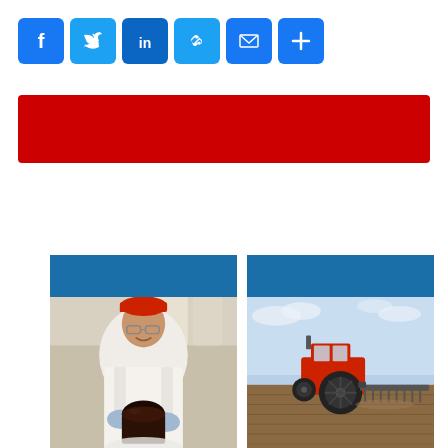[Figure (infographic): Social media sharing buttons: Facebook (blue), Twitter (light blue), LinkedIn (dark blue), Link/chain (light blue), Email (blue envelope), More/plus (blue)]
[Figure (other): Red horizontal banner bar]
[Figure (photo): Left card with blue top bar and photo of a smiling woman in a lab coat, red cap, and safety glasses holding a container with dark liquid in a laboratory setting]
[Figure (photo): Right card with blue top bar and photo of a red tractor pulling agricultural equipment across a flat field under a blue sky]